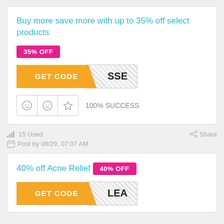Buy more save more with up to 35% off select products
35% OFF
[Figure (other): GET CODE button with orange left section and hatched right section showing 'SSE']
100% SUCCESS
15 Used
Share
Post by 08/29, 07:07 AM
40% off Acne Relief
40% OFF
[Figure (other): GET CODE button with orange left section and hatched right section showing 'LEA']